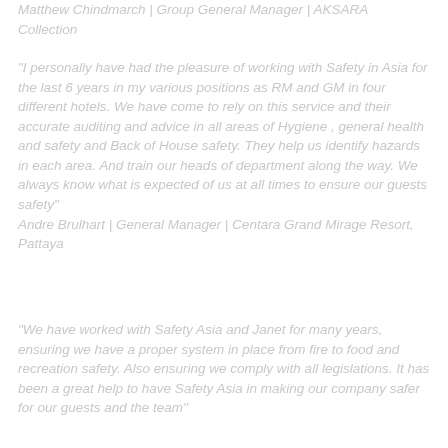Matthew Chindmarch | Group General Manager | AKSARA Collection
"I personally have had the pleasure of working with Safety in Asia for the last 6 years in my various positions as RM and GM in four different hotels. We have come to rely on this service and their accurate auditing and advice in all areas of Hygiene , general health and safety and Back of House safety. They help us identify hazards in each area. And train our heads of department along the way. We always know what is expected of us at all times to ensure our guests safety" Andre Brulhart | General Manager | Centara Grand Mirage Resort, Pattaya
"We have worked with Safety Asia and Janet for many years, ensuring we have a proper system in place from fire to food and recreation safety. Also ensuring we comply with all legislations. It has been a great help to have Safety Asia in making our company safer for our guests and the team"